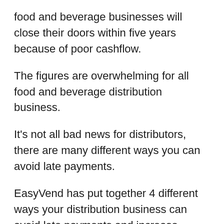food and beverage businesses will close their doors within five years because of poor cashflow.
The figures are overwhelming for all food and beverage distribution business.
It's not all bad news for distributors, there are many different ways you can avoid late payments.
EasyVend has put together 4 different ways your distribution business can avoid late payments and increase cashflow.